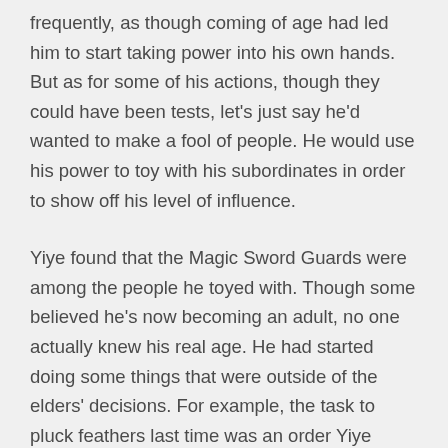frequently, as though coming of age had led him to start taking power into his own hands. But as for some of his actions, though they could have been tests, let's just say he'd wanted to make a fool of people. He would use his power to toy with his subordinates in order to show off his level of influence.
Yiye found that the Magic Sword Guards were among the people he toyed with. Though some believed he's now becoming an adult, no one actually knew his real age. He had started doing some things that were outside of the elders' decisions. For example, the task to pluck feathers last time was an order Yiye would never forget.
Receiving this sort of outrageous order was